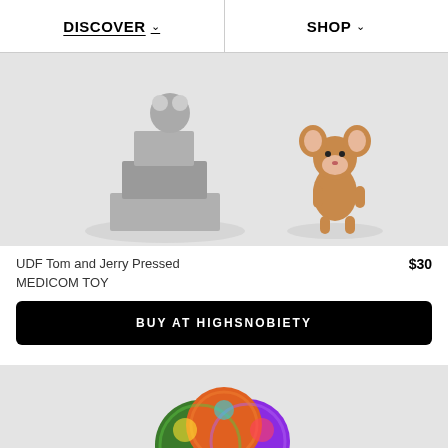DISCOVER  SHOP
[Figure (photo): Product photo of UDF Tom and Jerry Pressed figures — a gray staircase-shaped Tom figure on a clear oval base and a brown Jerry mouse figure on a clear round base, both on a light gray background]
UDF Tom and Jerry Pressed
MEDICOM TOY
$30
BUY AT HIGHSNOBIETY
[Figure (photo): Partially visible product photo showing colorful spherical figures with decorative patterns on a light gray background]